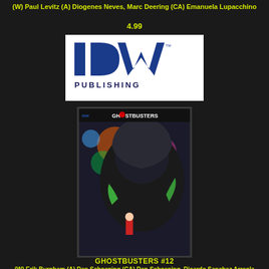(W) Paul Levitz (A) Diogenes Neves, Marc Deering (CA) Emanuela Lupacchino
4.99
[Figure (logo): IDW Publishing logo — bold blue 'IDW' letters above 'PUBLISHING' in dark blue on white background]
[Figure (illustration): IDW Ghostbusters #12 comic book cover — a large dark hooded figure looming over a smaller figure, with colorful background]
GHOSTBUSTERS #12
(W) Erik Burnham (A) Dan Schoening (CA) Dan Schoening, Ricardo Sanchez Arreola